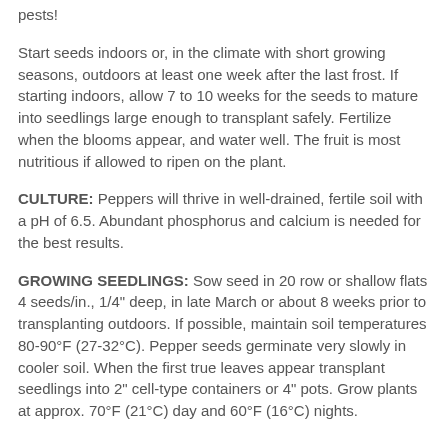pests!
Start seeds indoors or, in the climate with short growing seasons, outdoors at least one week after the last frost. If starting indoors, allow 7 to 10 weeks for the seeds to mature into seedlings large enough to transplant safely. Fertilize when the blooms appear, and water well. The fruit is most nutritious if allowed to ripen on the plant.
CULTURE: Peppers will thrive in well-drained, fertile soil with a pH of 6.5. Abundant phosphorus and calcium is needed for the best results.
GROWING SEEDLINGS: Sow seed in 20 row or shallow flats 4 seeds/in., 1/4" deep, in late March or about 8 weeks prior to transplanting outdoors. If possible, maintain soil temperatures 80-90°F (27-32°C). Pepper seeds germinate very slowly in cooler soil. When the first true leaves appear transplant seedlings into 2" cell-type containers or 4" pots. Grow plants at approx. 70°F (21°C) day and 60°F (16°C) nights.